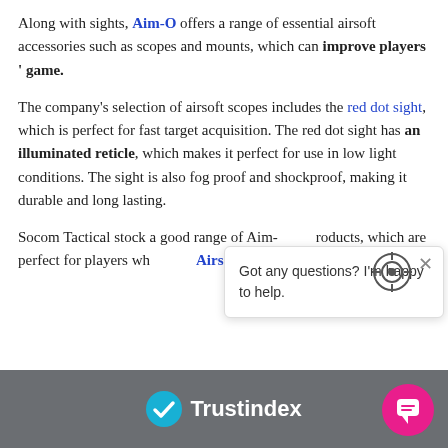Along with sights, Aim-O offers a range of essential airsoft accessories such as scopes and mounts, which can improve players ' game.
The company's selection of airsoft scopes includes the red dot sight, which is perfect for fast target acquisition. The red dot sight has an illuminated reticle, which makes it perfect for use in low light conditions. The sight is also fog proof and shockproof, making it durable and long lasting.
Socom Tactical stock a good range of Aim-O products, which are perfect for players who... Airsoft gun sights and acco...
[Figure (screenshot): Chat widget popup with crosshair icon and text: Got any questions? I'm happy to help. With a close X button.]
[Figure (logo): Trustindex logo with blue checkmark icon on dark grey footer background, and a pink chat bubble button in bottom right corner.]